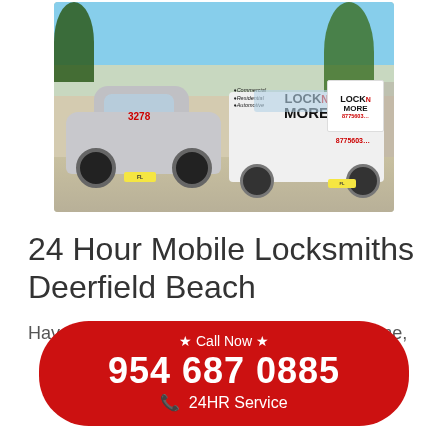[Figure (photo): Silver sedan car parked next to a white Lock N More locksmith van in a parking lot, with palm trees and buildings in background]
24 Hour Mobile Locksmiths Deerfield Beach
Have an emergency? Locked out of your home,
★ Call Now ★
954 687 0885
📞 24HR Service